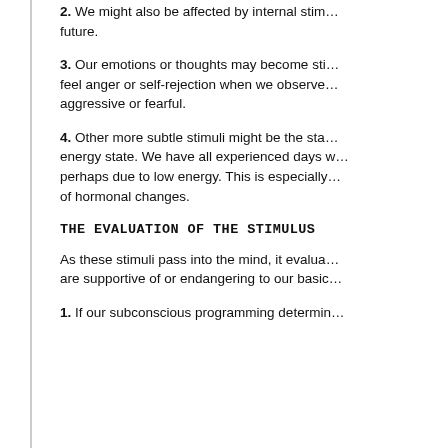2. We might also be affected by internal stimuli that affect our future.
3. Our emotions or thoughts may become stimuli. We may feel anger or self-rejection when we observe ourselves being aggressive or fearful.
4. Other more subtle stimuli might be the state of our energy state. We have all experienced days when we feel low, perhaps due to low energy. This is especially true in the case of hormonal changes.
THE EVALUATION OF THE STIMULUS
As these stimuli pass into the mind, it evaluates them. They are supportive of or endangering to our basic needs.
1. If our subconscious programming determin...